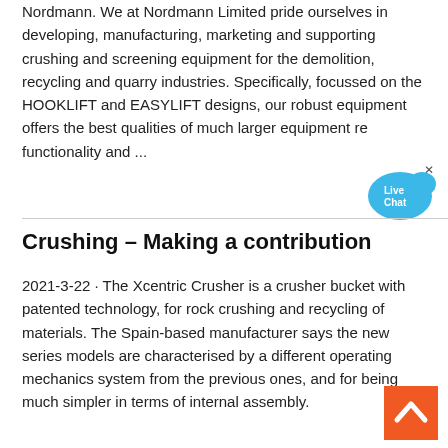Nordmann. We at Nordmann Limited pride ourselves in developing, manufacturing, marketing and supporting crushing and screening equipment for the demolition, recycling and quarry industries. Specifically, focussed on the HOOKLIFT and EASYLIFT designs, our robust equipment offers the best qualities of much larger equipment re functionality and ...
[Figure (illustration): Live Chat speech bubble icon in blue with text 'Live Chat' and a close (x) button]
Crushing – Making a contribution
2021-3-22 · The Xcentric Crusher is a crusher bucket with patented technology, for rock crushing and recycling of materials. The Spain-based manufacturer says the new series models are characterised by a different operating mechanics system from the previous ones, and for being much simpler in terms of internal assembly.
[Figure (illustration): Orange back-to-top button with white upward chevron arrow]